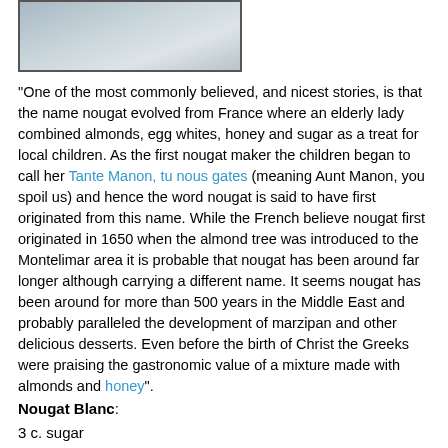[Figure (photo): Partial photo of a nougat or confection item, shown at top of page]
"One of the most commonly believed, and nicest stories, is that the name nougat evolved from France where an elderly lady combined almonds, egg whites, honey and sugar as a treat for local children. As the first nougat maker the children began to call her Tante Manon, tu nous gates (meaning Aunt Manon, you spoil us) and hence the word nougat is said to have first originated from this name. While the French believe nougat first originated in 1650 when the almond tree was introduced to the Montelimar area it is probable that nougat has been around far longer although carrying a different name. It seems nougat has been around for more than 500 years in the Middle East and probably paralleled the development of marzipan and other delicious desserts. Even before the birth of Christ the Greeks were praising the gastronomic value of a mixture made with almonds and honey".
Nougat Blanc:
3 c. sugar